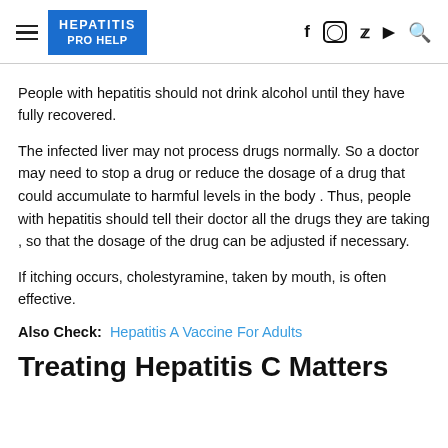HEPATITIS PRO HELP
People with hepatitis should not drink alcohol until they have fully recovered.
The infected liver may not process drugs normally. So a doctor may need to stop a drug or reduce the dosage of a drug that could accumulate to harmful levels in the body . Thus, people with hepatitis should tell their doctor all the drugs they are taking , so that the dosage of the drug can be adjusted if necessary.
If itching occurs, cholestyramine, taken by mouth, is often effective.
Also Check: Hepatitis A Vaccine For Adults
Treating Hepatitis C Matters